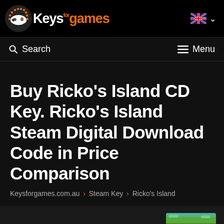KeysForGames logo and navigation header
Search | Menu
Buy Ricko's Island CD Key. Ricko's Island Steam Digital Download Code in Price Comparison
Keysforgames.com.au > Steam Key > Ricko's Island
ABOUT RICKO'S ISLAND